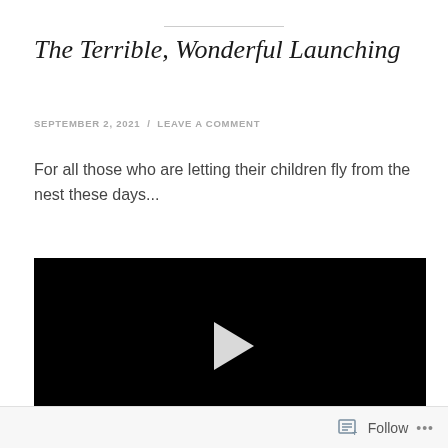The Terrible, Wonderful Launching
SEPTEMBER 2, 2021  /  LEAVE A COMMENT
For all those who are letting their children fly from the nest these days...
[Figure (other): Embedded video player with black background and white play button triangle in center]
Follow  ...